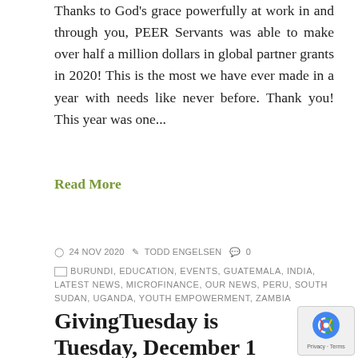Thanks to God's grace powerfully at work in and through you, PEER Servants was able to make over half a million dollars in global partner grants in 2020! This is the most we have ever made in a year with needs like never before. Thank you! This year was one...
Read More
24 NOV 2020   TODD ENGELSEN   0
BURUNDI, EDUCATION, EVENTS, GUATEMALA, INDIA, LATEST NEWS, MICROFINANCE, OUR NEWS, PERU, SOUTH SUDAN, UGANDA, YOUTH EMPOWERMENT, ZAMBIA
GivingTuesday is Tuesday, December 1